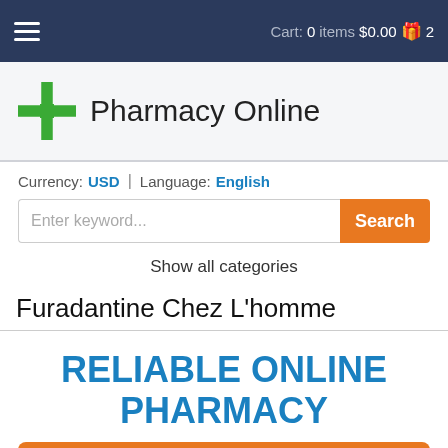Cart: 0 items $0.00 2
[Figure (logo): Green pharmacy cross logo with text 'Pharmacy Online']
Currency: USD | Language: English
Enter keyword...
Show all categories
Furadantine Chez L'homme
RELIABLE ONLINE PHARMACY
> Click here to order now